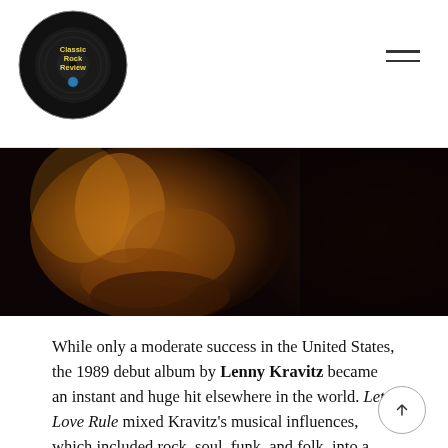Classic Rock Review
[Figure (photo): Close-up photo of Lenny Kravitz with warm amber/golden lighting against dark background]
While only a moderate success in the United States, the 1989 debut album by Lenny Kravitz became an instant and huge hit elsewhere in the world. Let Love Rule mixed Kravitz's musical influences, which included rock, soul, funk, and folk, into a contemporary blend that offered something profound and unique to pop music in 1989. A rarity for a newcomer working on his debut, Kravitz self-produced and also played played most of the instruments on the album, which